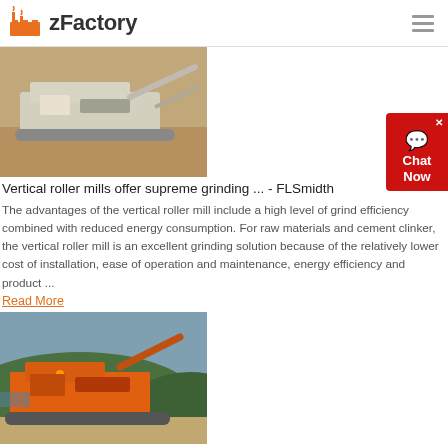zFactory
[Figure (photo): Photo of a large industrial vertical roller mill / crusher machine on tracked chassis at a construction or mining site]
Vertical roller mills offer supreme grinding ... - FLSmidth
The advantages of the vertical roller mill include a high level of grind efficiency combined with reduced energy consumption. For raw materials and cement clinker, the vertical roller mill is an excellent grinding solution because of the relatively lower cost of installation, ease of operation and maintenance, energy efficiency and product ...
Read More
[Figure (photo): Photo of an orange industrial roller mill machine at an outdoor site with hills in background]
Industrial Roller Mill Roller Mill Manufacturer ...